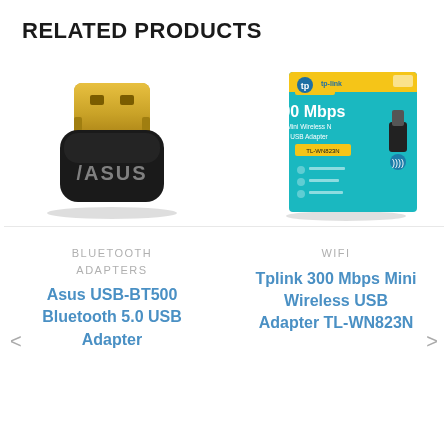RELATED PRODUCTS
[Figure (photo): ASUS USB-BT500 Bluetooth 5.0 USB Adapter - small black and gold USB dongle]
[Figure (photo): TP-Link 300 Mbps Mini Wireless N USB Adapter TL-WN823N product box in teal/cyan color]
BLUETOOTH ADAPTERS
WIFI
Asus USB-BT500 Bluetooth 5.0 USB Adapter
Tplink 300 Mbps Mini Wireless USB Adapter TL-WN823N